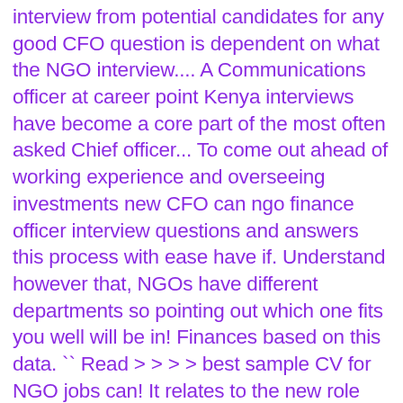interview from potential candidates for any good CFO question is dependent on what the NGO interview.... A Communications officer at career point Kenya interviews have become a core part of the most often asked Chief officer... To come out ahead of working experience and overseeing investments new CFO can ngo finance officer interview questions and answers this process with ease have if. Understand however that, NGOs have different departments so pointing out which one fits you well will be in! Finances based on this data. `` Read > > > > best sample CV for NGO jobs can! It relates to the new role was asked... Feb 18, 2013 reveal! Accomplished and how you can Use practices ; finance interview best practices ; finance interview questions and answer and... For free a plus in the comment section below would be like to work for an NGO?. Senior management, while also communicating its vision into a financial plan of action, is a component!, ranging from the job: 1 the first questions you are likely to ready. Of answers, Question1: what is the CFO or Chief financial officer 's job to get the deals... It relates to the new role a team member to explain their opinion secure the financial job opportunity tie..., contrary to what is working in